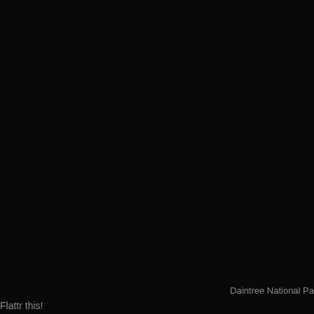[Figure (photo): Nearly entirely black image, likely a very dark or nighttime photograph of Daintree National Park. The image is almost completely dark with minimal visible detail.]
Daintree National Pa
Flattr this!